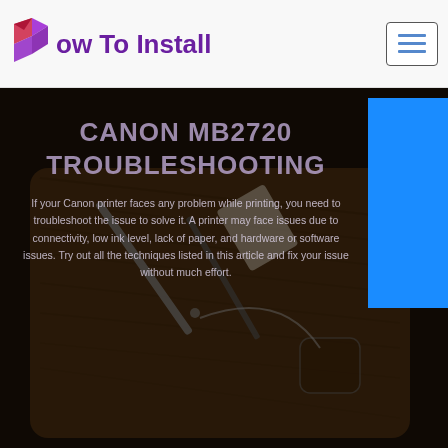[Figure (logo): How To Install website logo with purple icon and purple bold text]
[Figure (illustration): Hamburger menu button (three horizontal blue lines) in a bordered box]
[Figure (photo): Dark background hero image showing a wooden-surfaced device with stylus, pen, and small objects. A bright blue rectangle overlays the upper right corner.]
CANON MB2720 TROUBLESHOOTING
If your Canon printer faces any problem while printing, you need to troubleshoot the issue to solve it. A printer may face issues due to connectivity, low ink level, lack of paper, and hardware or software issues. Try out all the techniques listed in this article and fix your issue without much effort.